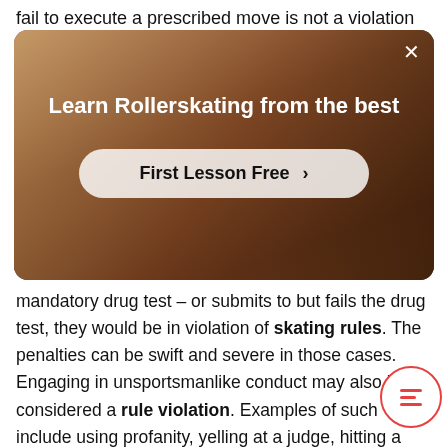fail to execute a prescribed move is not a violation
[Figure (screenshot): Advertisement overlay showing a person rollerskating with text 'Learn Rollerskating from the best' and a 'First Lesson Free >' button]
mandatory drug test – or submits to but fails the drug test, they would be in violation of skating rules. The penalties can be swift and severe in those cases. Engaging in unsportsmanlike conduct may also be considered a rule violation. Examples of such include using profanity, yelling at a judge, hitting a fellow competitor. Roller skating is not an Olympic event but the same rules apply to